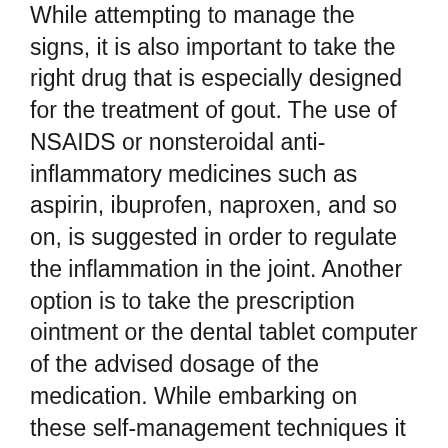While attempting to manage the signs, it is also important to take the right drug that is especially designed for the treatment of gout. The use of NSAIDS or nonsteroidal anti-inflammatory medicines such as aspirin, ibuprofen, naproxen, and so on, is suggested in order to regulate the inflammation in the joint. Another option is to take the prescription ointment or the dental tablet computer of the advised dosage of the medication. While embarking on these self-management techniques it is very important to bear in mind that the gout pain assault can return if the drug is stopped abruptly; so it is best to tread gradually and cautiously with these medications.
One more alternative to control the strike is